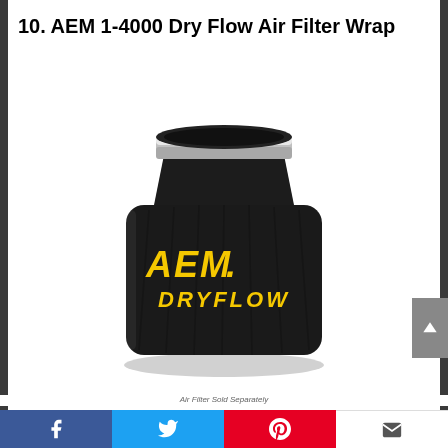10. AEM 1-4000 Dry Flow Air Filter Wrap
[Figure (photo): Black AEM Dryflow air filter wrap/sock with yellow AEM DRYFLOW logo on the front, silver metal ring at top, on a white background. Note at bottom reads 'Air Filter Sold Separately'.]
Air Filter Sold Separately